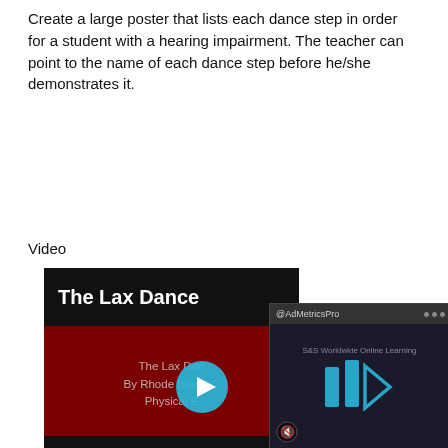Create a large poster that lists each dance step in order for a student with a hearing impairment. The teacher can point to the name of each dance step before he/she demonstrates it.
Video
[Figure (screenshot): Video thumbnail for 'The Lax Dance' by Rhode Island Physical Education, showing dark red background with title text and a play button, with an overlapping ad panel from AdMetricsPro showing S&S Worldwide Online Learning.]